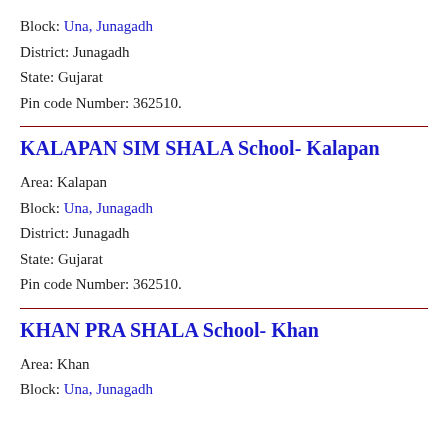Block: Una, Junagadh
District: Junagadh
State: Gujarat
Pin code Number: 362510.
KALAPAN SIM SHALA School- Kalapan
Area: Kalapan
Block: Una, Junagadh
District: Junagadh
State: Gujarat
Pin code Number: 362510.
KHAN PRA SHALA School- Khan
Area: Khan
Block: Una, Junagadh